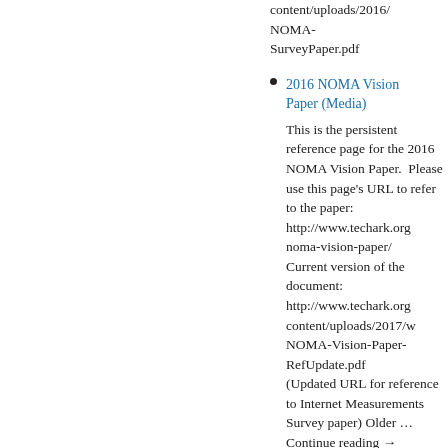content/uploads/2016/ NOMA-SurveyPaper.pdf
2016 NOMA Vision Paper (Media) This is the persistent reference page for the 2016 NOMA Vision Paper.  Please use this page's URL to refer to the paper: http://www.techark.org noma-vision-paper/ Current version of the document: http://www.techark.org content/uploads/2017/ NOMA-Vision-Paper-RefUpdate.pdf (Updated URL for reference to Internet Measurements Survey paper) Older … Continue reading →